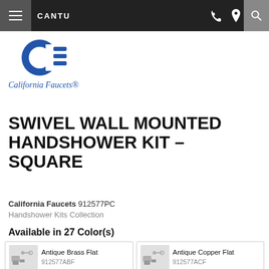CANTU — Navigation bar with phone, location, and search icons
[Figure (logo): California Faucets logo — blue stylized C-E emblem with italic wordmark 'California Faucets']
SWIVEL WALL MOUNTED HANDSHOWER KIT – SQUARE
California Faucets 912577PC
Handshower Kits Collection
Available in 27 Color(s)
| Image | Name | SKU |
| --- | --- | --- |
| [img] | Antique Brass Flat | 912577ABF |
| [img] | Antique Copper Flat | 912577ACF |
| [img] | Antique Nickel Flat | 912577ANF |
| [img] | Burnished Brass | 912577BBU |